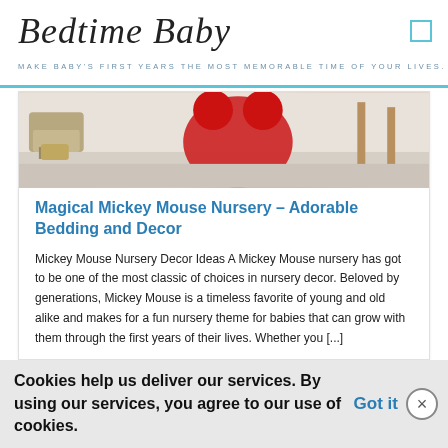Bedtime Baby
MAKE BABY'S FIRST YEARS THE MOST MEMORABLE TIME OF YOUR LIVES.
[Figure (photo): A nursery room with Mickey Mouse themed decor, showing a wicker chair, a large red Mickey Mouse figure, and wooden furniture on a light floor.]
Magical Mickey Mouse Nursery – Adorable Bedding and Decor
Mickey Mouse Nursery Decor Ideas A Mickey Mouse nursery has got to be one of the most classic of choices in nursery decor. Beloved by generations, Mickey Mouse is a timeless favorite of young and old alike and makes for a fun nursery theme for babies that can grow with them through the first years of their lives. Whether you [...]
Cookies help us deliver our services. By using our services, you agree to our use of cookies. Got it